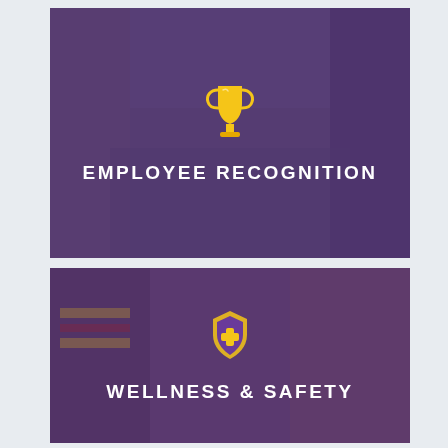[Figure (photo): Top panel: purple-overlaid photo of two people in an office/classroom setting, with a gold trophy icon and the text EMPLOYEE RECOGNITION]
[Figure (photo): Bottom panel: purple-overlaid photo of workers in safety vests, with a gold shield/medical icon and the text WELLNESS & SAFETY]